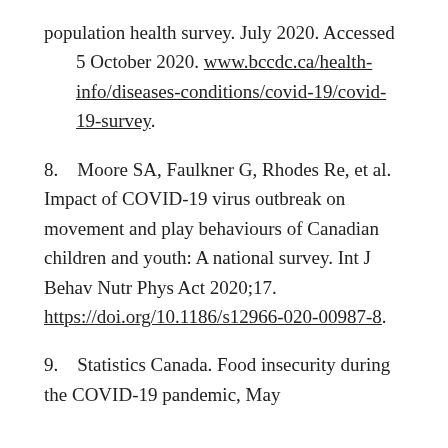population health survey. July 2020. Accessed 5 October 2020. www.bccdc.ca/health-info/diseases-conditions/covid-19/covid-19-survey.
8.    Moore SA, Faulkner G, Rhodes Re, et al. Impact of COVID-19 virus outbreak on movement and play behaviours of Canadian children and youth: A national survey. Int J Behav Nutr Phys Act 2020;17. https://doi.org/10.1186/s12966-020-00987-8.
9.    Statistics Canada. Food insecurity during the COVID-19 pandemic, May